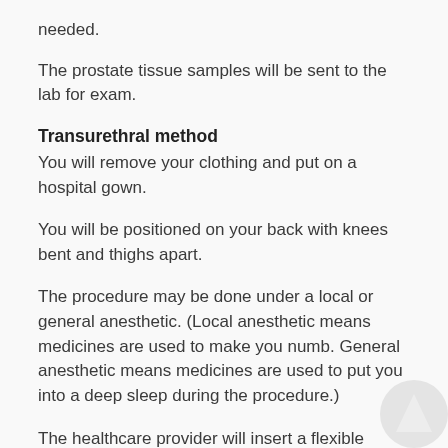needed.
The prostate tissue samples will be sent to the lab for exam.
Transurethral method
You will remove your clothing and put on a hospital gown.
You will be positioned on your back with knees bent and thighs apart.
The procedure may be done under a local or general anesthetic. (Local anesthetic means medicines are used to make you numb. General anesthetic means medicines are used to put you into a deep sleep during the procedure.)
The healthcare provider will insert a flexible